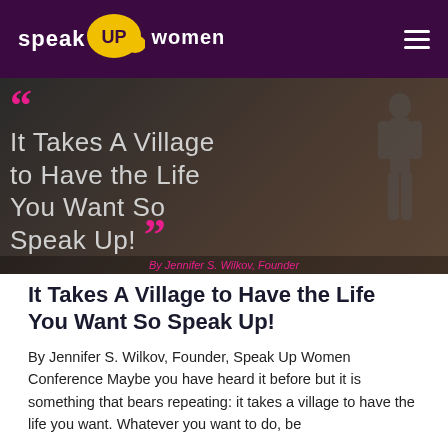speak UP women
[Figure (photo): Hero image with dark background showing a quote text overlay: "It Takes A Village to Have the Life You Want So Speak Up!" with pink quotation marks, and a silhouette of a person. Bottom of image shows 'By Jennifer S. Wilkov, Founder' in pink text.]
It Takes A Village to Have the Life You Want So Speak Up!
By Jennifer S. Wilkov, Founder, Speak Up Women Conference Maybe you have heard it before but it is something that bears repeating: it takes a village to have the life you want. Whatever you want to do, be